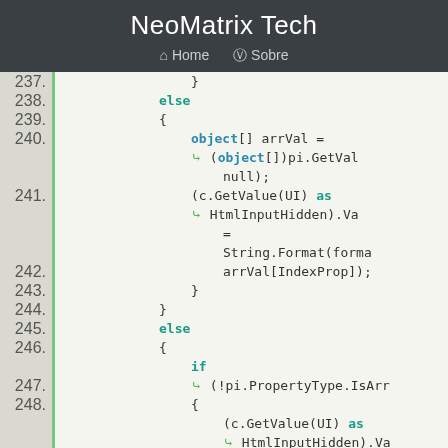NeoMatrix Tech
Home   Sobre
Code listing lines 237-250, C# source code showing if/else block with object array assignment and string formatting